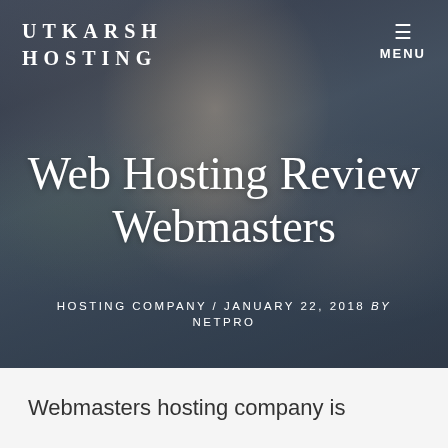[Figure (photo): Hero image of a woman with arms raised outdoors near water, wearing sunglasses, with a dark overlay. Used as website header background.]
UTKARSH HOSTING
MENU
Web Hosting Review Webmasters
HOSTING COMPANY / JANUARY 22, 2018 by NETPRO
Webmasters hosting company is